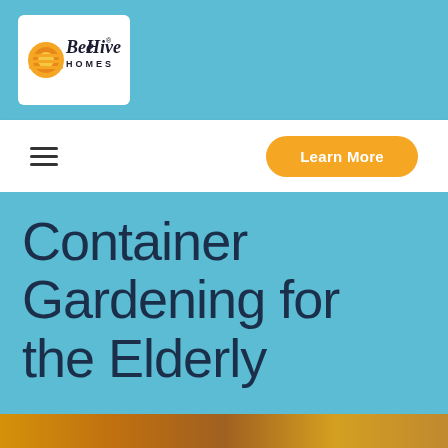[Figure (logo): BeeHive Homes logo — stylized bee/sun icon with orange and yellow concentric arcs on the left, script text 'BeeHive' with registered trademark symbol, and 'HOMES' in small caps below, inside a white rounded rectangle]
≡
Learn More
Container Gardening for the Elderly
[Figure (photo): Bottom strip showing warm golden/orange tones, partial view of a garden scene]